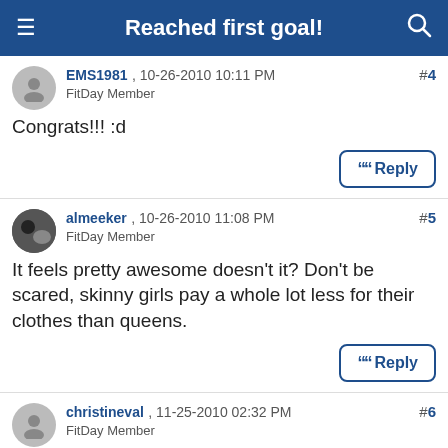Reached first goal!
EMS1981 , 10-26-2010 10:11 PM
FitDay Member
#4
Congrats!!! :d
almeeker , 10-26-2010 11:08 PM
FitDay Member
#5
It feels pretty awesome doesn't it? Don't be scared, skinny girls pay a whole lot less for their clothes than queens.
christineval , 11-25-2010 02:32 PM
FitDay Member
#6
Congrats!